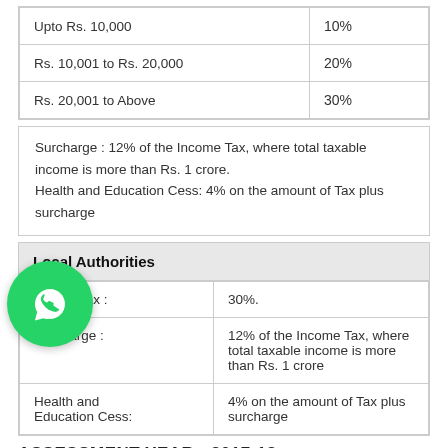| Income Range | Tax Rate |
| --- | --- |
| Upto Rs. 10,000 | 10% |
| Rs. 10,001 to Rs. 20,000 | 20% |
| Rs. 20,001 to Above | 30% |
Surcharge : 12% of the Income Tax, where total taxable income is more than Rs. 1 crore.
Health and Education Cess: 4% on the amount of Tax plus surcharge
| Local Authorities |  |
| --- | --- |
| Income tax : | 30%. |
| Surcharge : | 12% of the Income Tax, where total taxable income is more than Rs. 1 crore |
| Health and Education Cess: | 4% on the amount of Tax plus surcharge |
ASSESSMENT YEAR : 2017-18